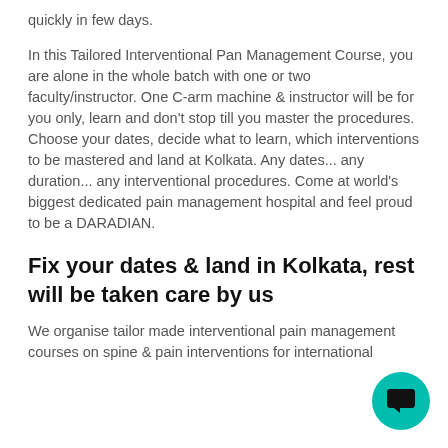quickly in few days.
In this Tailored Interventional Pan Management Course, you are alone in the whole batch with one or two faculty/instructor. One C-arm machine & instructor will be for you only, learn and don't stop till you master the procedures.
Choose your dates, decide what to learn, which interventions to be mastered and land at Kolkata. Any dates... any duration... any interventional procedures. Come at world's biggest dedicated pain management hospital and feel proud to be a DARADIAN.
Fix your dates & land in Kolkata, rest will be taken care by us
We organise tailor made interventional pain management courses on spine & pain interventions for international